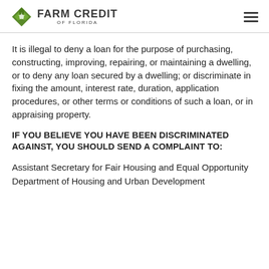Farm Credit of Florida
It is illegal to deny a loan for the purpose of purchasing, constructing, improving, repairing, or maintaining a dwelling, or to deny any loan secured by a dwelling; or discriminate in fixing the amount, interest rate, duration, application procedures, or other terms or conditions of such a loan, or in appraising property.
IF YOU BELIEVE YOU HAVE BEEN DISCRIMINATED AGAINST, YOU SHOULD SEND A COMPLAINT TO:
Assistant Secretary for Fair Housing and Equal Opportunity
Department of Housing and Urban Development